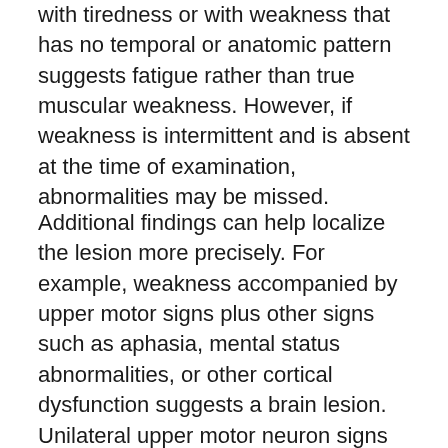with tiredness or with weakness that has no temporal or anatomic pattern suggests fatigue rather than true muscular weakness. However, if weakness is intermittent and is absent at the time of examination, abnormalities may be missed.
Additional findings can help localize the lesion more precisely. For example, weakness accompanied by upper motor signs plus other signs such as aphasia, mental status abnormalities, or other cortical dysfunction suggests a brain lesion. Unilateral upper motor neuron signs (spasticity, hyperreflexia, extensor plantar response) and weakness involving an arm and a leg on the same side of the body suggest a contralateral hemispheric lesion, most often a stroke. Upper or lower motor neuron signs (or both) plus loss of sensation below a segmental spinal cord level and loss of bowel or bladder control (or both) suggest